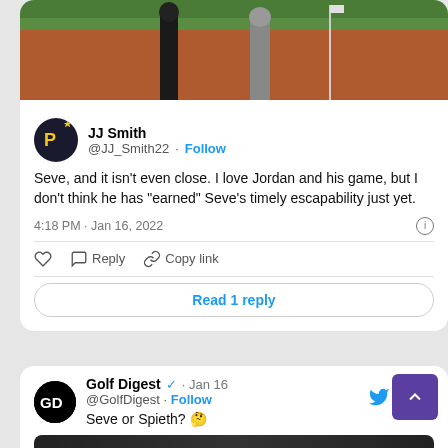[Figure (photo): Two golfers standing on a golf course with red/brown mulch ground, partial view cropped at top]
JJ Smith @JJ_Smith22 · Follow
Seve, and it isn't even close. I love Jordan and his game, but I don't think he has "earned" Seve's timely escapability just yet.
4:18 PM · Jan 16, 2022
Reply  Copy link
Read 1 reply
Golf Digest ✓ · Jan 16 @GolfDigest · Follow Seve or Spieth? 🤔